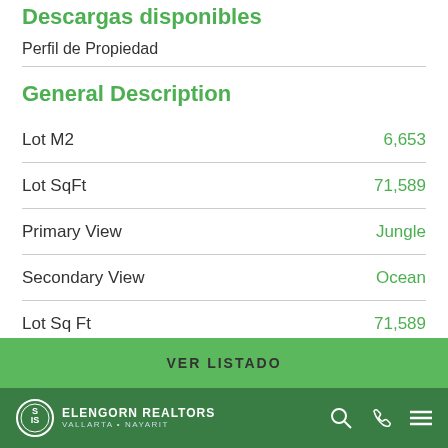Descargas disponibles
Perfil de Propiedad
General Description
| Property | Value |
| --- | --- |
| Lot M2 | 6,653 |
| Lot SqFt | 71,589 |
| Primary View | Jungle |
| Secondary View | Ocean |
| Lot Sq Ft | 71,589 |
VER LISTADO
ELENGORN REALTORS VALLARTA • NAYARIT